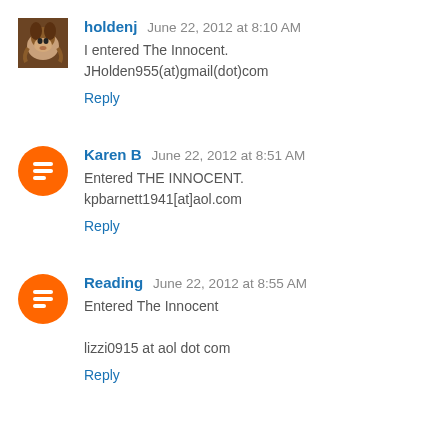holdenj  June 22, 2012 at 8:10 AM
I entered The Innocent.
JHolden955(at)gmail(dot)com
Reply
Karen B  June 22, 2012 at 8:51 AM
Entered THE INNOCENT.
kpbarnett1941[at]aol.com
Reply
Reading  June 22, 2012 at 8:55 AM
Entered The Innocent

lizzi0915 at aol dot com
Reply